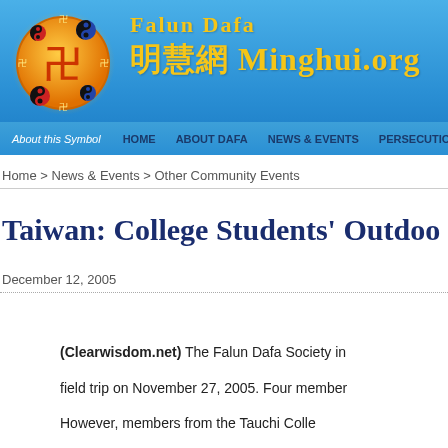[Figure (logo): Falun Dafa / Minghui.org website header banner with logo emblem and site title]
About this Symbol  HOME  ABOUT DAFA  NEWS & EVENTS  PERSECUTION
Home > News & Events > Other Community Events
Taiwan: College Students' Outdo…
December 12, 2005
(Clearwisdom.net) The Falun Dafa Society in… field trip on November 27, 2005. Four member… However members from the Tauchi Colle…